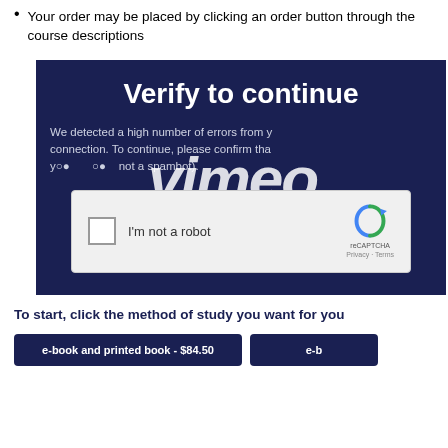Your order may be placed by clicking an order button through the course descriptions
[Figure (screenshot): Vimeo 'Verify to continue' CAPTCHA overlay. Dark navy background with large white 'Verify to continue' heading, body text 'We detected a high number of errors from your connection. To continue, please confirm that you are human and not a spambot.', a reCAPTCHA 'I'm not a robot' checkbox widget, and large italic 'vimeo' watermark text in white.]
To start, click the method of study you want for you
e-book and printed book - $84.50
e-b